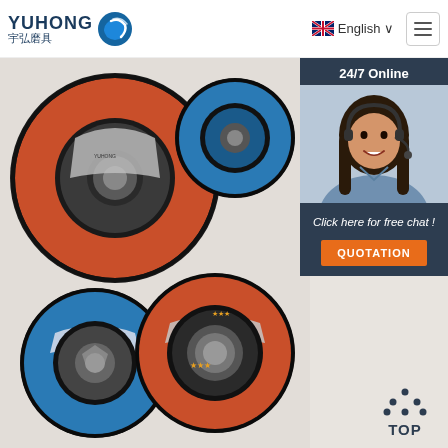[Figure (logo): YUHONG 宇弘磨具 logo with blue wave sphere icon]
English ∨
[Figure (photo): Website screenshot showing multiple grinding/cutting discs (abrasive wheels) arranged on a light gray background, with a 24/7 Online chat overlay featuring a woman with headset, a 'Click here for free chat!' message, a QUOTATION button, and a TOP navigation button at bottom right.]